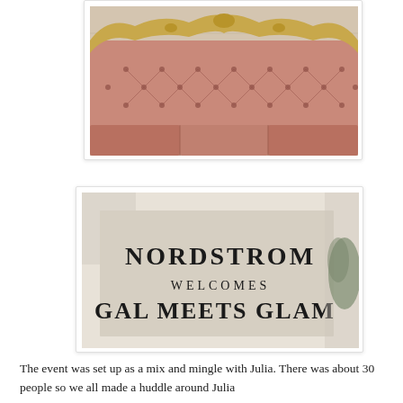[Figure (photo): Close-up photograph of a pink tufted velvet sofa/headboard with ornate gold carved wood frame at the top, showing diamond button-tufting pattern on blush/salmon colored fabric.]
[Figure (photo): Photograph of a beige/tan sign with text reading 'NORDSTROM WELCOMES GAL MEETS GLAM' in elegant serif and spaced letterforms, with a plant visible in the background.]
The event was set up as a mix and mingle with Julia. There was about 30 people so we all made a huddle around Julia